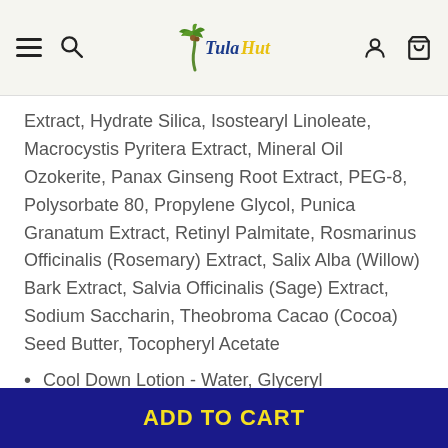Tula Hut - navigation header with hamburger menu, search, logo, account, and cart icons
Extract, Hydrate Silica, Isostearyl Linoleate, Macrocystis Pyritera Extract, Mineral Oil Ozokerite, Panax Ginseng Root Extract, PEG-8, Polysorbate 80, Propylene Glycol, Punica Granatum Extract, Retinyl Palmitate, Rosmarinus Officinalis (Rosemary) Extract, Salix Alba (Willow) Bark Extract, Salvia Officinalis (Sage) Extract, Sodium Saccharin, Theobroma Cacao (Cocoa) Seed Butter, Tocopheryl Acetate
Cool Down Lotion - Water, Glyceryl
ADD TO CART